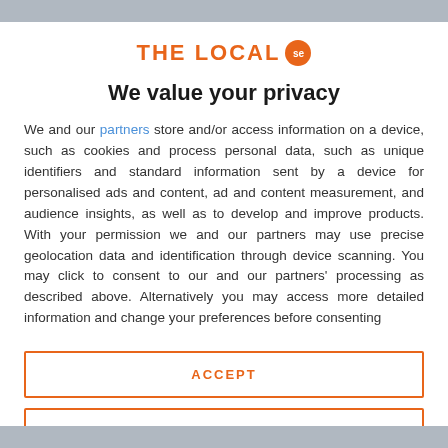[Figure (logo): THE LOCAL se logo with orange text and orange circular badge]
We value your privacy
We and our partners store and/or access information on a device, such as cookies and process personal data, such as unique identifiers and standard information sent by a device for personalised ads and content, ad and content measurement, and audience insights, as well as to develop and improve products. With your permission we and our partners may use precise geolocation data and identification through device scanning. You may click to consent to our and our partners' processing as described above. Alternatively you may access more detailed information and change your preferences before consenting
ACCEPT
MORE OPTIONS